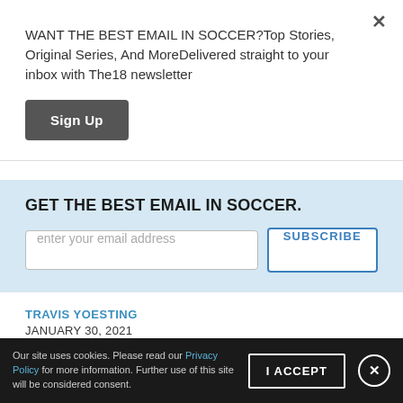WANT THE BEST EMAIL IN SOCCER?Top Stories, Original Series, And MoreDelivered straight to your inbox with The18 newsletter
Sign Up
GET THE BEST EMAIL IN SOCCER.
enter your email address
SUBSCRIBE
TRAVIS YOESTING
JANUARY 30, 2021
Bruno Fernandes joined Manchester United from Sporting
Our site uses cookies. Please read our Privacy Policy for more information. Further use of this site will be considered consent.
I ACCEPT